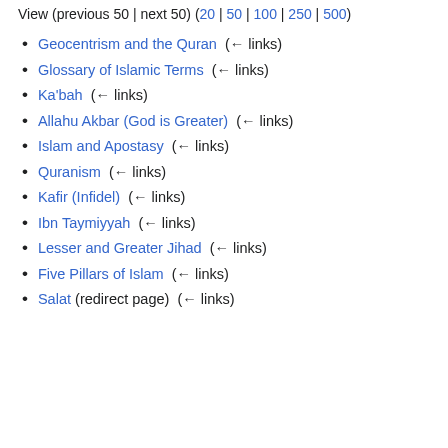View (previous 50 | next 50) (20 | 50 | 100 | 250 | 500)
Geocentrism and the Quran  (← links)
Glossary of Islamic Terms  (← links)
Ka'bah  (← links)
Allahu Akbar (God is Greater)  (← links)
Islam and Apostasy  (← links)
Quranism  (← links)
Kafir (Infidel)  (← links)
Ibn Taymiyyah  (← links)
Lesser and Greater Jihad  (← links)
Five Pillars of Islam  (← links)
Salat (redirect page)  (← links)